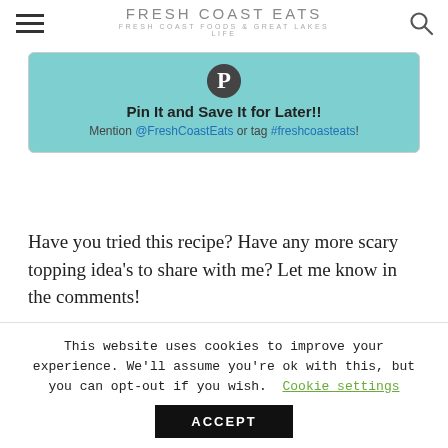FRESH COAST EATS — FRESH COAST FOODS & GREAT LAKES LIFE
[Figure (infographic): Pinterest pin box with teal background, Pinterest logo icon, bold text 'Pin It and Save It for Later!!' and social mention text.]
Have you tried this recipe? Have any more scary topping idea's to share with me? Let me know in the comments!
This website uses cookies to improve your experience. We'll assume you're ok with this, but you can opt-out if you wish. Cookie settings ACCEPT